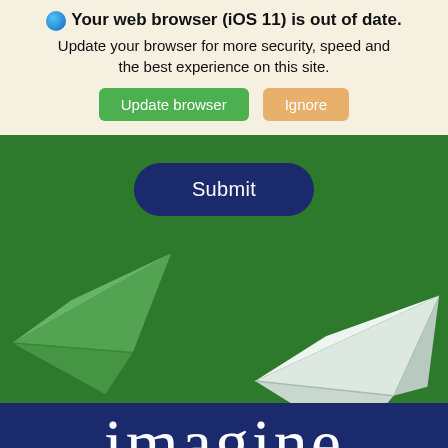🌐 Your web browser (iOS 11) is out of date. Update your browser for more security, speed and the best experience on this site. [Update browser] [Ignore]
[Figure (screenshot): Green background section with a dark navy Submit button centered at top, and two paper airplane illustrations — a green one on the left and a white/grey one on the right]
[Figure (logo): Navy blue background with large white 'imagine' text in serif font and italic 'and' text at bottom right, with green chat bar at bottom saying 'Our agents are not avail...' with chat icon]